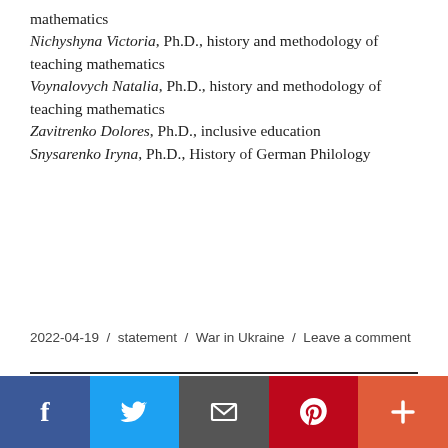mathematics
Nichyshyna Victoria, Ph.D., history and methodology of teaching mathematics
Voynalovych Natalia, Ph.D., history and methodology of teaching mathematics
Zavitrenko Dolores, Ph.D., inclusive education
Snysarenko Iryna, Ph.D., History of German Philology
2022-04-19 / statement / War in Ukraine / Leave a comment